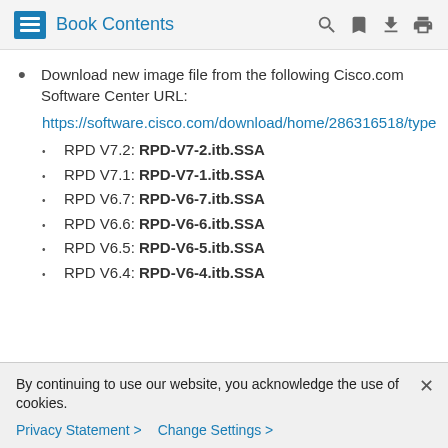Book Contents
Download new image file from the following Cisco.com Software Center URL:
https://software.cisco.com/download/home/286316518/type
RPD V7.2: RPD-V7-2.itb.SSA
RPD V7.1: RPD-V7-1.itb.SSA
RPD V6.7: RPD-V6-7.itb.SSA
RPD V6.6: RPD-V6-6.itb.SSA
RPD V6.5: RPD-V6-5.itb.SSA
RPD V6.4: RPD-V6-4.itb.SSA
By continuing to use our website, you acknowledge the use of cookies.
Privacy Statement > Change Settings >